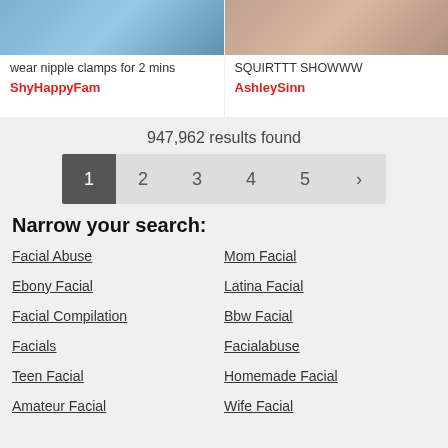[Figure (photo): Two thumbnail images side by side at top of page]
wear nipple clamps for 2 mins
ShyHappyFam
SQUIRTTT SHOWWW
AshleySinn
947,962 results found
1 2 3 4 5 >
Narrow your search:
Facial Abuse
Mom Facial
Ebony Facial
Latina Facial
Facial Compilation
Bbw Facial
Facials
Facialabuse
Teen Facial
Homemade Facial
Amateur Facial
Wife Facial